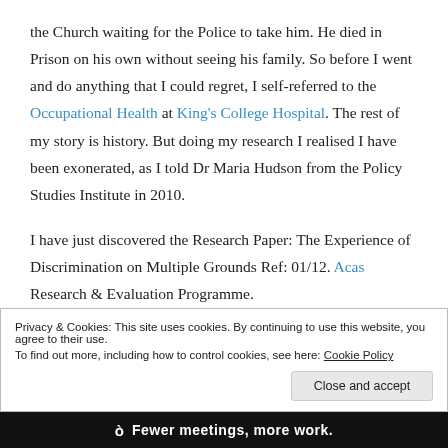the Church waiting for the Police to take him. He died in Prison on his own without seeing his family. So before I went and do anything that I could regret, I self-referred to the Occupational Health at King's College Hospital. The rest of my story is history. But doing my research I realised I have been exonerated, as I told Dr Maria Hudson from the Policy Studies Institute in 2010.
I have just discovered the Research Paper: The Experience of Discrimination on Multiple Grounds Ref: 01/12. Acas Research & Evaluation Programme.
Privacy & Cookies: This site uses cookies. By continuing to use this website, you agree to their use.
To find out more, including how to control cookies, see here: Cookie Policy